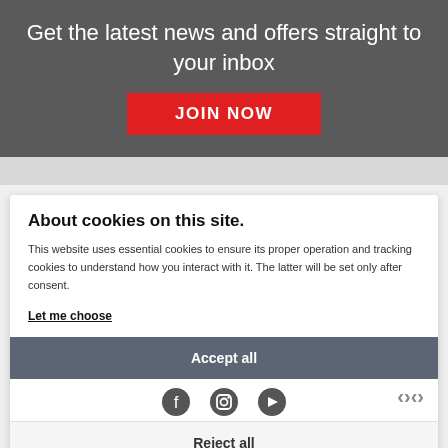Get the latest news and offers straight to your inbox
[Figure (infographic): Red JOIN NOW button on dark grey background]
ADDRESS
OPENING TIMES
Two Mercat 35 Pottermill Road, Edinburgh EH10 5LJ
Tuesday - Saturday: 9:00 am - 5:30 pm
Sunday: 11:00 am to 4:00 pm
Monday: Closed
CONTACT US
0131 667 7305
FOLLOW US
About cookies on this site.
This website uses essential cookies to ensure its proper operation and tracking cookies to understand how you interact with it. The latter will be set only after consent.
Let me choose
Accept all
Reject all